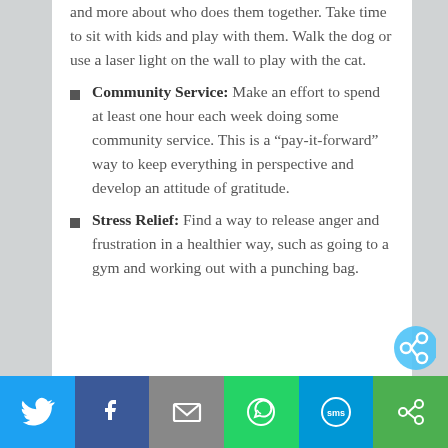and more about who does them together. Take time to sit with kids and play with them. Walk the dog or use a laser light on the wall to play with the cat.
Community Service: Make an effort to spend at least one hour each week doing some community service. This is a “pay-it-forward” way to keep everything in perspective and develop an attitude of gratitude.
Stress Relief: Find a way to release anger and frustration in a healthier way, such as going to a gym and working out with a punching bag.
[Figure (infographic): Social sharing bar with icons for Twitter, Facebook, Email, WhatsApp, SMS, and a share/other button. A partial share icon circle is visible above the bar.]